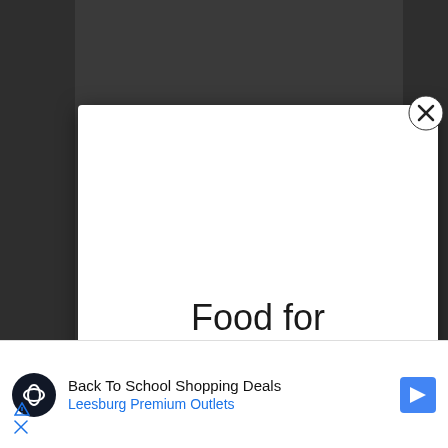[Figure (screenshot): Dark browser overlay background with modal popup dialog]
Food for Happiness
Subscribe Now!
[Figure (other): Close button (X in circle) at top right of modal]
Back To School Shopping Deals
Leesburg Premium Outlets